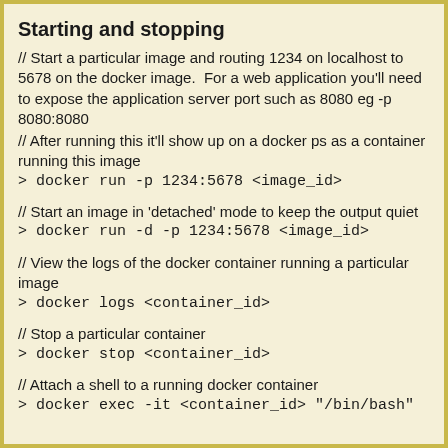Starting and stopping
// Start a particular image and routing 1234 on localhost to 5678 on the docker image.  For a web application you'll need to expose the application server port such as 8080 eg -p 8080:8080
// After running this it'll show up on a docker ps as a container running this image
> docker run -p 1234:5678 <image_id>
// Start an image in 'detached' mode to keep the output quiet
> docker run -d -p 1234:5678 <image_id>
// View the logs of the docker container running a particular image
> docker logs <container_id>
// Stop a particular container
> docker stop <container_id>
// Attach a shell to a running docker container
> docker exec -it <container_id> "/bin/bash"